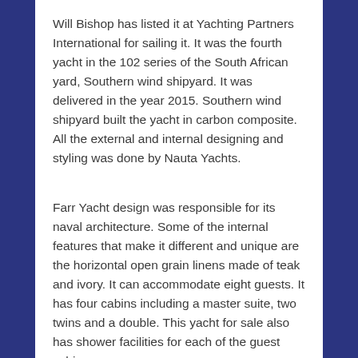Will Bishop has listed it at Yachting Partners International for sailing it. It was the fourth yacht in the 102 series of the South African yard, Southern wind shipyard. It was delivered in the year 2015. Southern wind shipyard built the yacht in carbon composite. All the external and internal designing and styling was done by Nauta Yachts.
Farr Yacht design was responsible for its naval architecture. Some of the internal features that make it different and unique are the horizontal open grain linens made of teak and ivory. It can accommodate eight guests. It has four cabins including a master suite, two twins and a double. This yacht for sale also has shower facilities for each of the guest cabins.